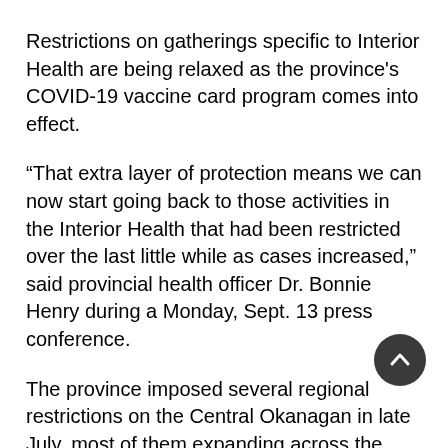Restrictions on gatherings specific to Interior Health are being relaxed as the province's COVID-19 vaccine card program comes into effect.
“That extra layer of protection means we can now start going back to those activities in the Interior Health that had been restricted over the last little while as cases increased,” said provincial health officer Dr. Bonnie Henry during a Monday, Sept. 13 press conference.
The province imposed several regional restrictions on the Central Okanagan in late July, most of them expanding across the Interior Health Authority in mid-August. Henry said those orders would be amended to allow for exemptions for businesses and events that use the vaccine card to ensure attendees are vaccinated.